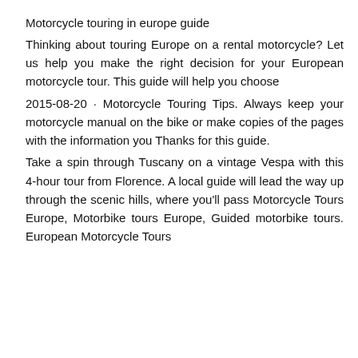Motorcycle touring in europe guide
Thinking about touring Europe on a rental motorcycle? Let us help you make the right decision for your European motorcycle tour. This guide will help you choose
2015-08-20 · Motorcycle Touring Tips. Always keep your motorcycle manual on the bike or make copies of the pages with the information you Thanks for this guide.
Take a spin through Tuscany on a vintage Vespa with this 4-hour tour from Florence. A local guide will lead the way up through the scenic hills, where you'll pass Motorcycle Tours Europe, Motorbike tours Europe, Guided motorbike tours. European Motorcycle Tours